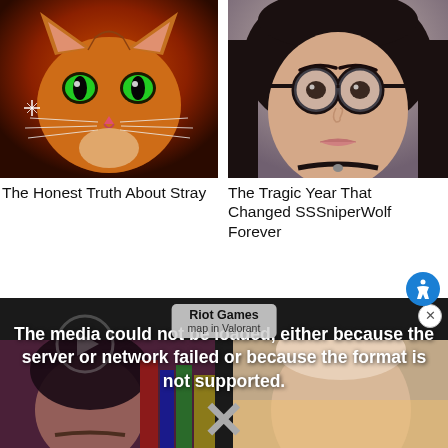[Figure (photo): Close-up photo of an orange tabby cat with glowing green eyes on a red/dark background — thumbnail for 'The Honest Truth About Stray']
The Honest Truth About Stray
[Figure (photo): Portrait photo of a young woman with dark hair, round black glasses, and a choker necklace — thumbnail for 'The Tragic Year That Changed SSSniperWolf Forever']
The Tragic Year That Changed SSSniperWolf Forever
[Figure (screenshot): Dark media player with error message overlay reading 'The media could not be loaded, either because the server or network failed or because the format is not supported.' with a large X icon. A Riot Games popup is partially visible showing 'map in Valorant'. Two thumbnails are partially visible at the bottom left and right.]
The media could not be loaded, either because the server or network failed or because the format is not supported.